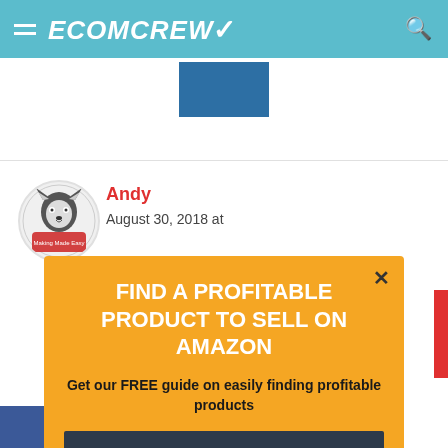ECOMCREW
Andy
August 30, 2018 at
FIND A PROFITABLE PRODUCT TO SELL ON AMAZON
Get our FREE guide on easily finding profitable products
FIND THE PERFECT PRODUCT NOW